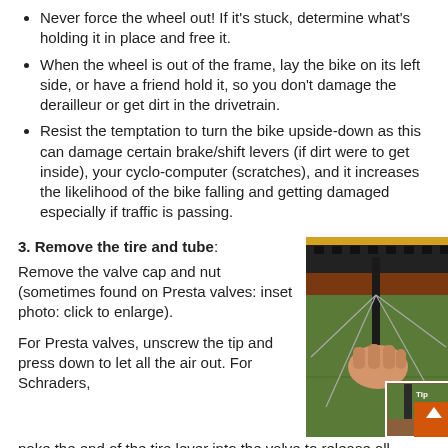Never force the wheel out! If it's stuck, determine what's holding it in place and free it.
When the wheel is out of the frame, lay the bike on its left side, or have a friend hold it, so you don't damage the derailleur or get dirt in the drivetrain.
Resist the temptation to turn the bike upside-down as this can damage certain brake/shift levers (if dirt were to get inside), your cyclo-computer (scratches), and it increases the likelihood of the bike falling and getting damaged especially if traffic is passing.
3. Remove the tire and tube:
Remove the valve cap and nut (sometimes found on Presta valves: inset photo: click to enlarge).
[Figure (photo): A hand removing a valve from a bicycle tire/wheel, with a grass background. There is a smaller inset photo in the bottom right showing a close-up detail.]
For Presta valves, unscrew the tip and press down to let all the air out. For Schraders,
poke the end of the tire lever into the valve to release all